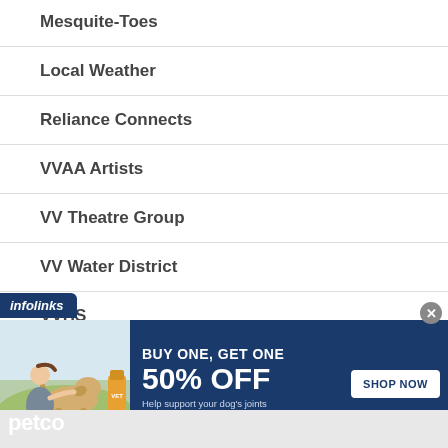Mesquite-Toes
Local Weather
Reliance Connects
VVAA Artists
VV Theatre Group
VV Water District
VVHS
[Figure (infographic): Petco advertisement: BUY ONE, GET ONE 50% OFF on dog joint supplement. Shows woman with golden labrador and supplement bottle. Shop Now button. Infolinks tab visible.]